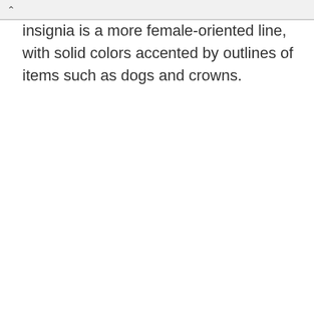Insignia is a more female-oriented line, with solid colors accented by outlines of items such as dogs and crowns.